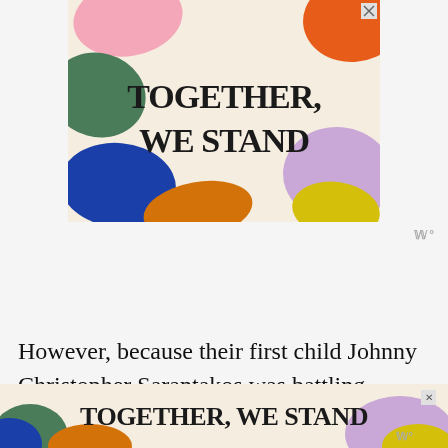[Figure (illustration): Advertisement banner with colorful blobs (pink, green, orange, blue, purple, yellow, orange) on a cream background with bold serif text reading TOGETHER, WE STAND. Has an X close button in top right.]
However, because their first child Johnny Christopher Sarantakos was battling Leukemia, he tr[ied to be with] him
[Figure (illustration): Bottom banner advertisement with colorful blobs and bold text reading TOGETHER, WE STAND with a close X button and W logo.]